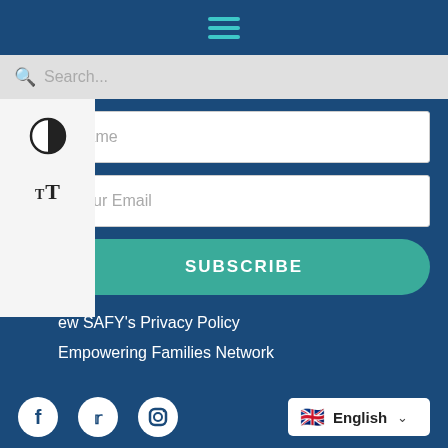[Figure (screenshot): Navigation hamburger menu icon with three teal horizontal lines on dark blue background]
Search...
Name
Your Email
SUBSCRIBE
ew SAFY's Privacy Policy
Empowering Families Network
UHC – Transparency in Coverage
English
Social media icons: Facebook, Twitter, Instagram. Language selector: English